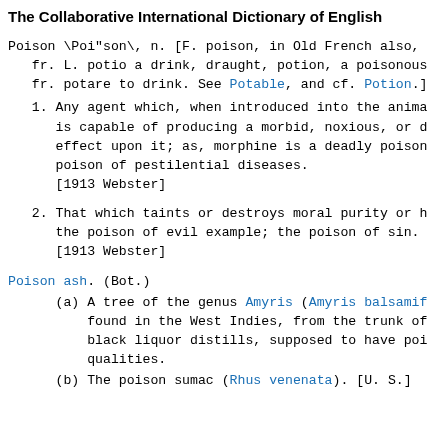The Collaborative International Dictionary of English
Poison \Poi"son\, n. [F. poison, in Old French also, fr. L. potio a drink, draught, potion, a poisonous fr. potare to drink. See Potable, and cf. Potion.]
1. Any agent which, when introduced into the animal organism, is capable of producing a morbid, noxious, or deadly effect upon it; as, morphine is a deadly poison; the poison of pestilential diseases.
[1913 Webster]
2. That which taints or destroys moral purity or health; the poison of evil example; the poison of sin.
[1913 Webster]
Poison ash. (Bot.)
(a) A tree of the genus Amyris (Amyris balsamifera), found in the West Indies, from the trunk of which a black liquor distills, supposed to have poisonous qualities.
(b) The poison sumac (Rhus venenata). [U. S.]